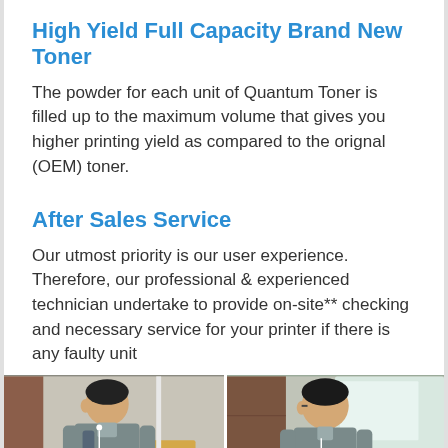High Yield Full Capacity Brand New Toner
The powder for each unit of Quantum Toner is filled up to the maximum volume that gives you higher printing yield as compared to the orignal (OEM) toner.
After Sales Service
Our utmost priority is our user experience. Therefore, our professional & experienced technician undertake to provide on-site** checking and necessary service for your printer if there is any faulty unit
[Figure (photo): Two photos side by side showing technicians in grey uniforms working on printers/equipment, with a WhatsApp button overlay on the left photo.]